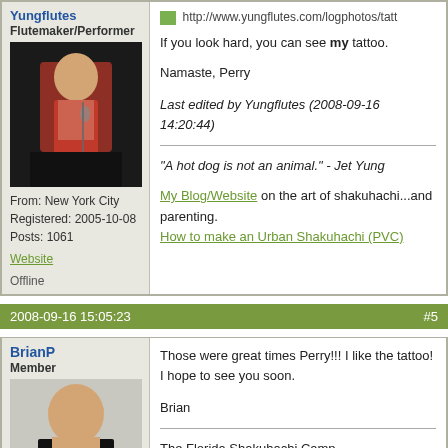Flutemaker/Performer
[Figure (photo): Man performing at microphone on stage in red jacket]
From: New York City
Registered: 2005-10-08
Posts: 1061
Website
Offline
http://www.yungflutes.com/logphotos/tatt
If you look hard, you can see my tattoo.
Namaste, Perry
Last edited by Yungflutes (2008-09-16 14:20:44)
"A hot dog is not an animal." - Jet Yung
My Blog/Website on the art of shakuhachi...and parenting.
How to make an Urban Shakuhachi (PVC)
2008-09-16 15:05:23   #5
BrianP
Member
[Figure (photo): Bald man smiling holding white object, wearing black t-shirt]
Those were great times Perry!!!  I like the tattoo!  I hope to see you soon.

Brian

The Florida Shakuhachi Camp
http://www.floridashakuhachi.com
Brian's Shakuhachi Blog
http://gaijinkomuso.blogspot.com